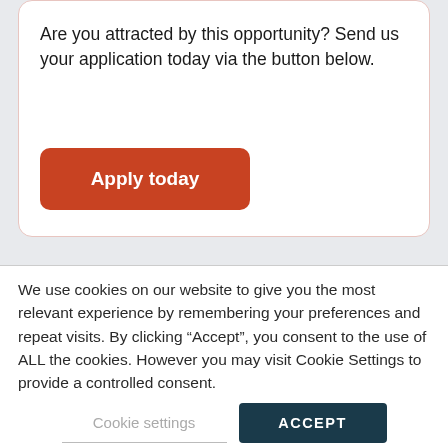Are you attracted by this opportunity? Send us your application today via the button below.
[Figure (other): Orange-red rounded button labeled 'Apply today']
We use cookies on our website to give you the most relevant experience by remembering your preferences and repeat visits. By clicking “Accept”, you consent to the use of ALL the cookies. However you may visit Cookie Settings to provide a controlled consent.
Cookie settings
ACCEPT